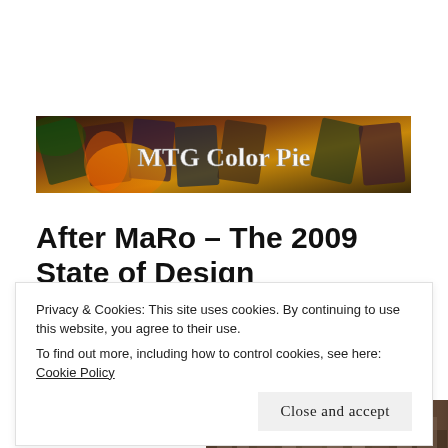MENU
[Figure (photo): MTG Color Pie website banner showing Magic: The Gathering cards spread out with text 'MTG Color Pie' overlaid in a decorative font]
After MaRo – The 2009 State of Design Response
Privacy & Cookies: This site uses cookies. By continuing to use this website, you agree to their use.
To find out more, including how to control cookies, see here: Cookie Policy
Close and accept
Design that